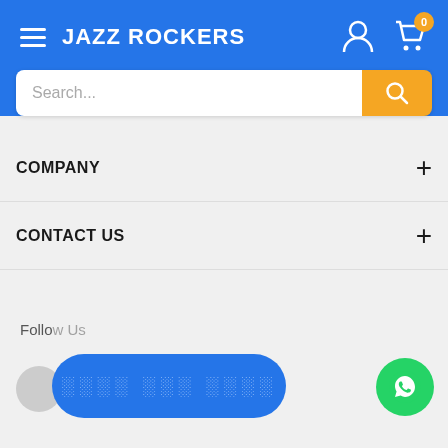JAZZ ROCKERS
[Figure (screenshot): Search bar with text placeholder 'Search...' and yellow search button]
COMPANY
CONTACT US
Follow Us
[Figure (other): Blue pill-shaped overlay button with obscured text, WhatsApp green circle button, and partial social media icon]